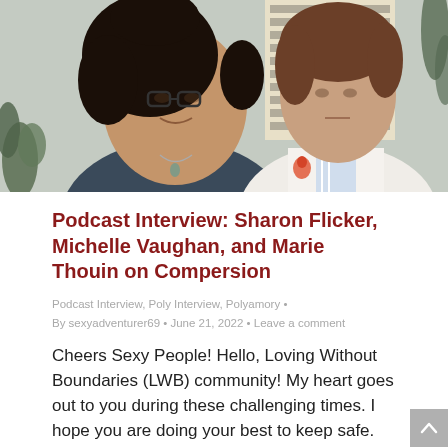[Figure (photo): Two women posing together. On the left, a woman with curly dark hair wearing glasses and a dark top with a necklace. On the right, a woman with short brown hair wearing a white jacket with floral details and a striped shirt. Background includes decorative plant elements.]
Podcast Interview: Sharon Flicker, Michelle Vaughan, and Marie Thouin on Compersion
Podcast Interview, Poly Interview, Polyamory • By sexyadventurer69 • June 21, 2022 • Leave a comment
Cheers Sexy People! Hello, Loving Without Boundaries (LWB) community! My heart goes out to you during these challenging times. I hope you are doing your best to keep safe.